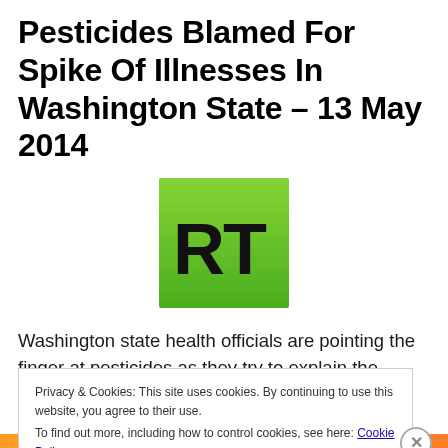Pesticides Blamed For Spike Of Illnesses In Washington State – 13 May 2014
[Figure (logo): RT (Russia Today) logo — bold black RT text on a bright green square background with gradient from lighter green at top to darker green at bottom]
Washington state health officials are pointing the finger at pesticides as they try to explain the recent surge in
Privacy & Cookies: This site uses cookies. By continuing to use this website, you agree to their use.
To find out more, including how to control cookies, see here: Cookie Policy
Close and accept